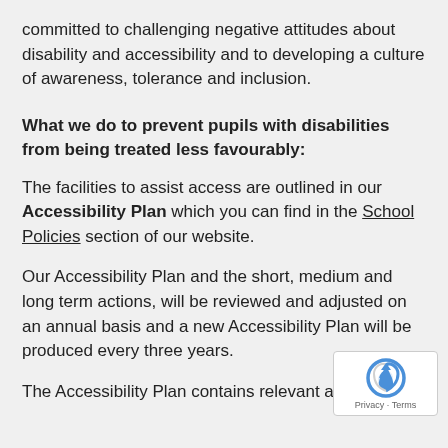committed to challenging negative attitudes about disability and accessibility and to developing a culture of awareness, tolerance and inclusion.
What we do to prevent pupils with disabilities from being treated less favourably:
The facilities to assist access are outlined in our Accessibility Plan which you can find in the School Policies section of our website.
Our Accessibility Plan and the short, medium and long term actions, will be reviewed and adjusted on an annual basis and a new Accessibility Plan will be produced every three years.
The Accessibility Plan contains relevant actions to: